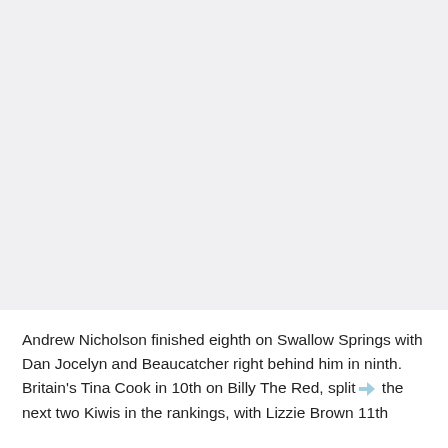[Figure (photo): Large image area (appears blank/light grey in this view), likely a photograph related to the article content about equestrian sports.]
Andrew Nicholson finished eighth on Swallow Springs with Dan Jocelyn and Beaucatcher right behind him in ninth. Britain's Tina Cook in 10th on Billy The Red, split the next two Kiwis in the rankings, with Lizzie Brown 11th